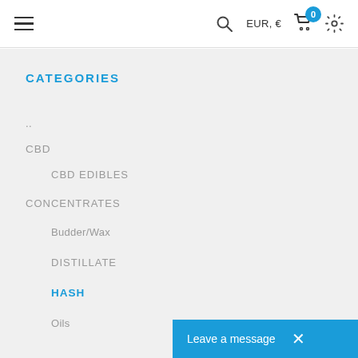EUR, € | 0
CATEGORIES
..
CBD
CBD EDIBLES
CONCENTRATES
Budder/Wax
DISTILLATE
HASH
Oils
Leave a message